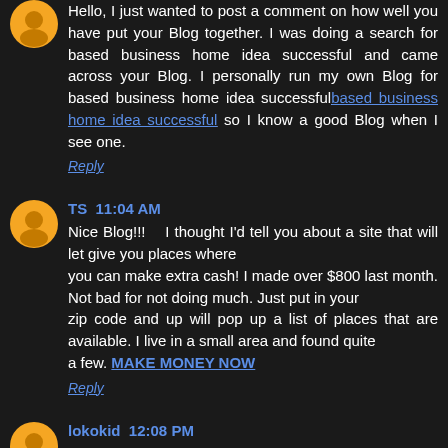Hello, I just wanted to post a comment on how well you have put your Blog together. I was doing a search for based business home idea successful and came across your Blog. I personally run my own Blog for based business home idea successfulbased business home idea successful so I know a good Blog when I see one.
Reply
TS 11:04 AM
Nice Blog!!!   I thought I'd tell you about a site that will let give you places where you can make extra cash! I made over $800 last month. Not bad for not doing much. Just put in your zip code and up will pop up a list of places that are available. I live in a small area and found quite a few. MAKE MONEY NOW
Reply
lokokid 12:08 PM